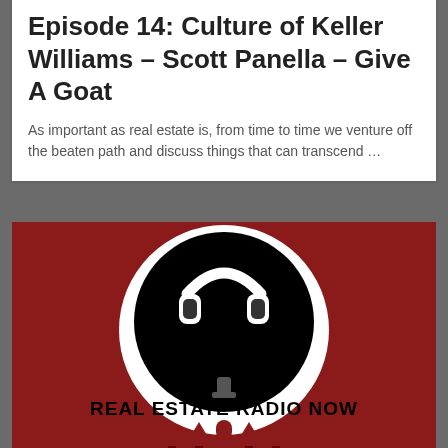Episode 14: Culture of Keller Williams – Scott Panella – Give A Goat
As important as real estate is, from time to time we venture off the beaten path and discuss things that can transcend …
[Figure (logo): Real Estate Radio Now podcast logo: dark red/maroon background with a large white circle containing a black silhouette of a person wearing headphones, and text 'REAL ESTATE RADIO NOW' in bold black letters, with small red house icons at the bottom.]